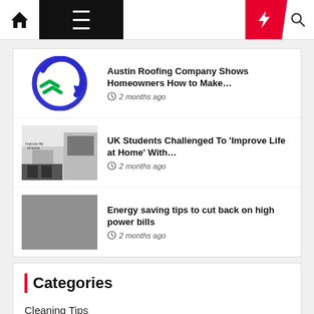Navigation bar with home, menu, moon, bolt, and search icons
Austin Roofing Company Shows Homeowners How to Make… · 2 months ago
UK Students Challenged To 'Improve Life at Home' With… · 2 months ago
Energy saving tips to cut back on high power bills · 2 months ago
Categories
Cleaning Tips